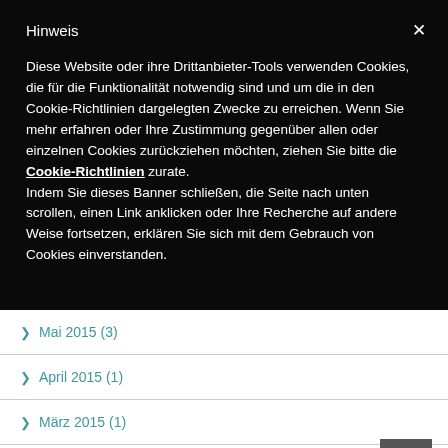Hinweis
Diese Website oder ihre Drittanbieter-Tools verwenden Cookies, die für die Funktionalität notwendig sind und um die in den Cookie-Richtlinien dargelegten Zwecke zu erreichen. Wenn Sie mehr erfahren oder Ihre Zustimmung gegenüber allen oder einzelnen Cookies zurückziehen möchten, ziehen Sie bitte die Cookie-Richtlinien zurate.
Indem Sie dieses Banner schließen, die Seite nach unten scrollen, einen Link anklicken oder Ihre Recherche auf andere Weise fortsetzen, erklären Sie sich mit dem Gebrauch von Cookies einverstanden.
Mai 2015 (3)
April 2015 (1)
März 2015 (1)